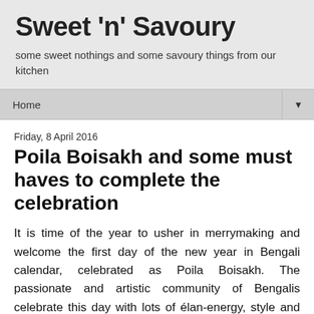Sweet 'n' Savoury
some sweet nothings and some savoury things from our kitchen
Home ▼
Friday, 8 April 2016
Poila Boisakh and some must haves to complete the celebration
It is time of the year to usher in merrymaking and welcome the first day of the new year in Bengali calendar, celebrated as Poila Boisakh. The passionate and artistic community of Bengalis celebrate this day with lots of élan-energy, style and enthusiasm. This new day of the new year is celebrated with a mix of old traditions and modern